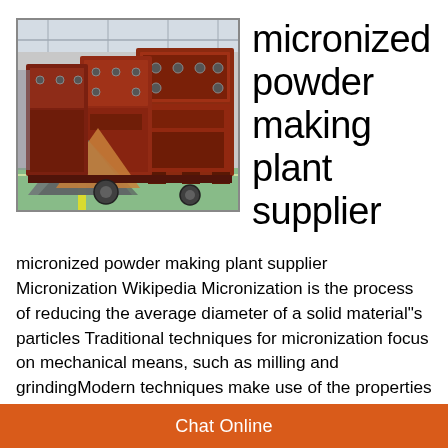[Figure (photo): Industrial machinery — large red metal vibratory screening/powder making machines lined up in a factory warehouse with green floor and metal roof structure.]
micronized powder making plant supplier
micronized powder making plant supplier Micronization Wikipedia Micronization is the process of reducing the average diameter of a solid material"s particles Traditional techniques for micronization focus on mechanical means, such as milling and grindingModern techniques make use of the properties of supercritical fluids and manipulate the principles of solubility The termMicronized powder micronized powder machine mxico supplier mines crusher
Chat Online